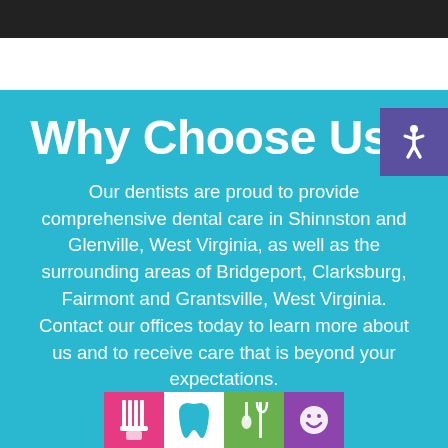Why Choose Us?
Our dentists are proud to provide comprehensive dental care in Shinnston and Glenville, West Virginia, as well as the surrounding areas of Bridgeport, Clarksburg, Fairmont and Grantsville, West Virginia. Contact our offices today to learn more about us and to receive care that is beyond your expectations.
[Figure (infographic): Row of four colored icons at the bottom: pink tooth/brush icon, white tooth icon, green fork/glass icon, purple smiley face icon]